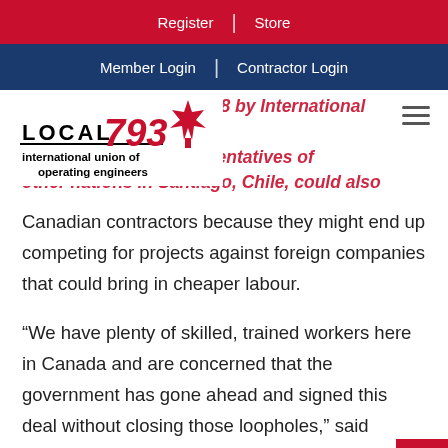Register | Store
Member Login | Contractor Login
[Figure (logo): Local 793 International Union of Operating Engineers logo with maple leaf design]
The deal, signed March 8 by International Trade Minister Champagne and representatives of other nations in Santiago, Chile, could also affect
Canadian contractors because they might end up competing for projects against foreign companies that could bring in cheaper labour.
“We have plenty of skilled, trained workers here in Canada and are concerned that the government has gone ahead and signed this deal without closing those loopholes,” said Gallagher. “These issues have been raised but,